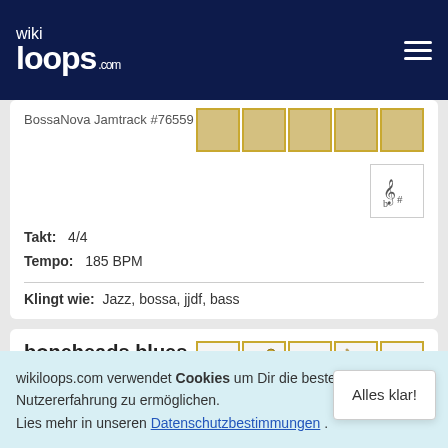[Figure (logo): wikiloops.com logo on dark navy background with hamburger menu icon]
BossaNova Jamtrack #76559
Takt: 4/4
Tempo: 185 BPM
Klingt wie: Jazz, bossa, jjdf, bass
boneheads blues
Blues Jamtrack #79333
wikiloops.com verwendet Cookies um Dir die beste Nutzererfahrung zu ermöglichen. Lies mehr in unseren Datenschutzbestimmungen .